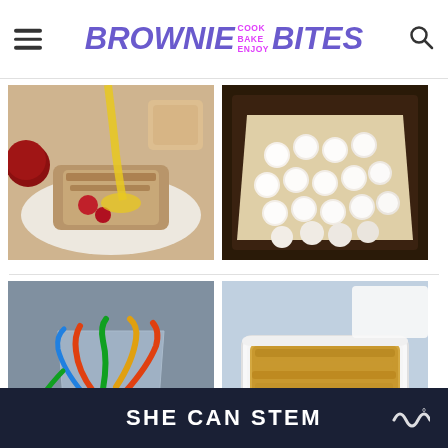BROWNIE COOK BAKE ENJOY BITES
[Figure (photo): Sauce being poured over a sliced cake with apples and berries]
[Figure (photo): Powdered sugar-coated round candy/donut holes in parchment-lined box]
[Figure (photo): Cup of dirt pudding with gummy worms sticking out]
[Figure (photo): White baking dish with golden crumble or casserole]
SHE CAN STEM